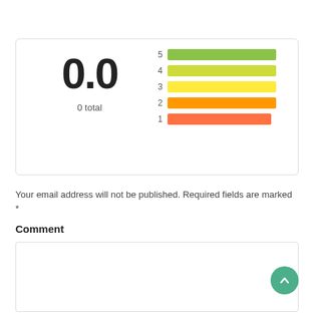[Figure (bar-chart): Rating widget showing 0.0 score with 0 total reviews and horizontal bar chart for ratings 1-5]
Your email address will not be published. Required fields are marked *
Comment